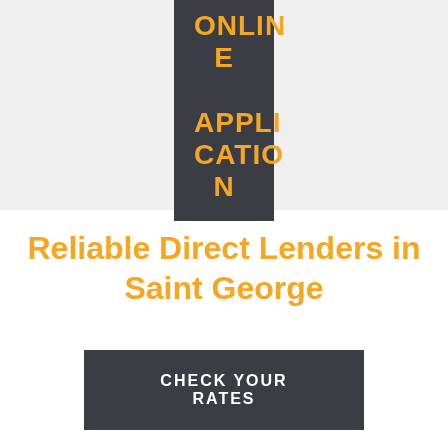[Figure (other): Dark gray button/banner with orange bold text reading 'ONLINE APPLICATION' on a light gray background]
Reliable Direct Lenders in Saint George
CHECK YOUR RATES